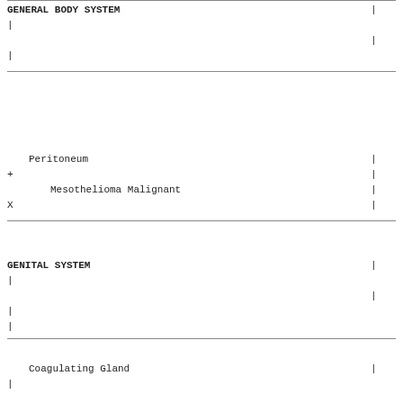| GENERAL BODY SYSTEM | | |
| | |  |
|  | | |
| | |  |
|     Peritoneum | | |
| + | | |
|         Mesothelioma Malignant | | |
| X | | |
| GENITAL SYSTEM | | |
| | |  |
|  | | |
| | |  |
| | |  |
|     Coagulating Gland | | |
| | |  |